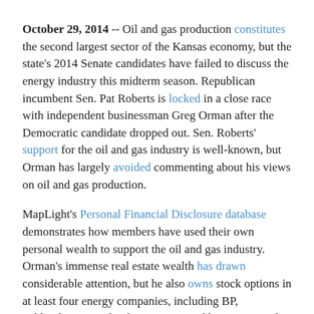October 29, 2014 -- Oil and gas production constitutes the second largest sector of the Kansas economy, but the state's 2014 Senate candidates have failed to discuss the energy industry this midterm season. Republican incumbent Sen. Pat Roberts is locked in a close race with independent businessman Greg Orman after the Democratic candidate dropped out. Sen. Roberts' support for the oil and gas industry is well-known, but Orman has largely avoided commenting about his views on oil and gas production.
MapLight's Personal Financial Disclosure database demonstrates how members have used their own personal wealth to support the oil and gas industry. Orman's immense real estate wealth has drawn considerable attention, but he also owns stock options in at least four energy companies, including BP, Schlumberger, and Valero Energy, and has an ownership stake in five oil and gas